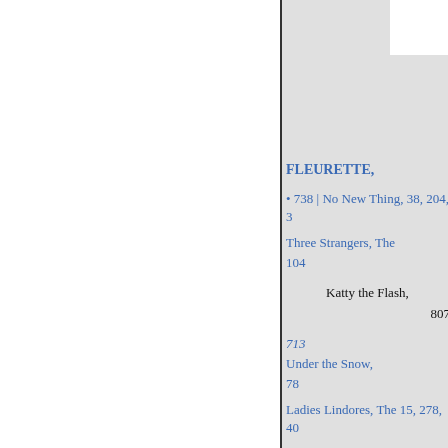FLEURETTE,
• 738 | No New Thing, 38, 204, 3
Three Strangers, The
104
Katty the Flash,
807
713
Under the Snow,
78
Ladies Lindores, The 15, 278, 40
Wizard's Son, The 147, 225, 295
469, 552, 619, 785
My Daughter-in-Law, .
684
No. 707